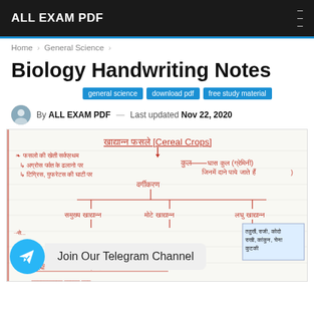ALL EXAM PDF
Home > General Science >
Biology Handwriting Notes
general science | download pdf | free study material
By ALL EXAM PDF — Last updated Nov 22, 2020
[Figure (photo): Handwritten biology notes in Hindi showing 'Khadyann Fasle (Cereal Crops)' classification chart with branches for Samukhh Khadyann, Moti Khadyann, and Laghu Khadyann, with a Telegram channel overlay at the bottom.]